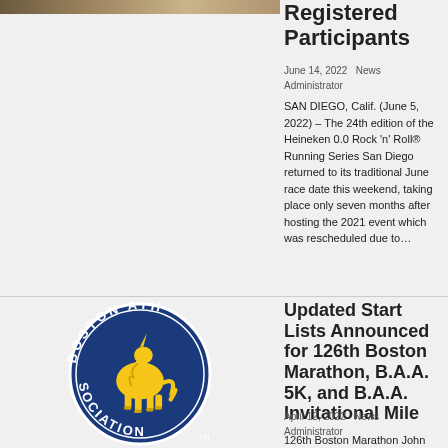[Figure (photo): Partial photo of race participants at the top left corner]
Registered Participants
June 14, 2022   News Administrator
SAN DIEGO, Calif. (June 5, 2022) – The 24th edition of the Heineken 0.0 Rock 'n' Roll® Running Series San Diego returned to its traditional June race date this weekend, taking place only seven months after hosting the 2021 event which was rescheduled due to…
[Figure (logo): Boston Athletic Association logo — blue circle with gold unicorn and text BOSTON ATH... SOCIATION around the edge]
Updated Start Lists Announced for 126th Boston Marathon, B.A.A. 5K, and B.A.A. Invitational Mile
April 12, 2022   News Administrator
126th Boston Marathon John